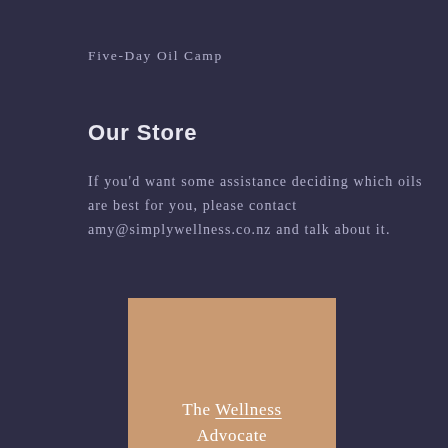Five-Day Oil Camp
Our Store
If you'd want some assistance deciding which oils are best for you, please contact amy@simplywellness.co.nz and talk about it.
[Figure (illustration): A tan/beige colored box containing the text 'The Wellness Advocate' centered, with 'Wellness' underlined.]